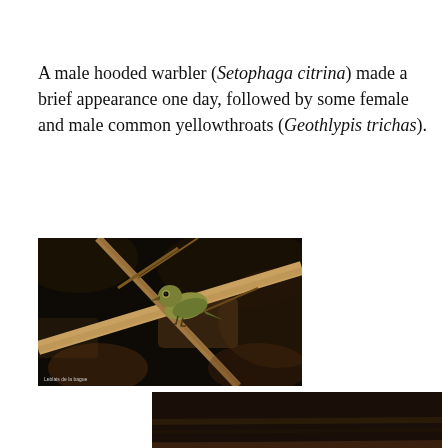A male hooded warbler (Setophaga citrina) made a brief appearance one day, followed by some female and male common yellowthroats (Geothlypis trichas).
[Figure (photo): A small olive-green bird (female common yellowthroat) perched on thin bare branches against a dark background]
[Figure (photo): A bird partially visible in dark foliage setting, darker exposure photo]